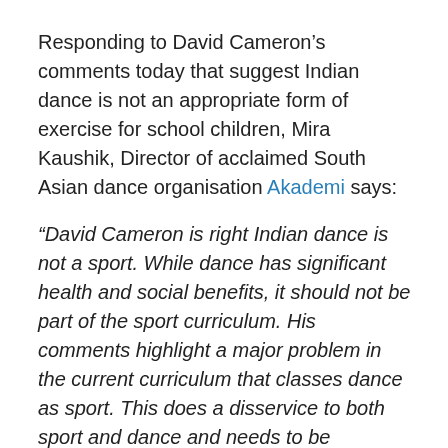Responding to David Cameron's comments today that suggest Indian dance is not an appropriate form of exercise for school children, Mira Kaushik, Director of acclaimed South Asian dance organisation Akademi says:
“David Cameron is right Indian dance is not a sport. While dance has significant health and social benefits, it should not be part of the sport curriculum. His comments highlight a major problem in the current curriculum that classes dance as sport. This does a disservice to both sport and dance and needs to be addressed by the Coalition. Dance must be recognised as an art form like art and drama and should be included as part of a well rounded arts education to inspire the artists of the future.
“We have trained some of the foremost dancers in the UK including Akram Khan, who performed in the opening